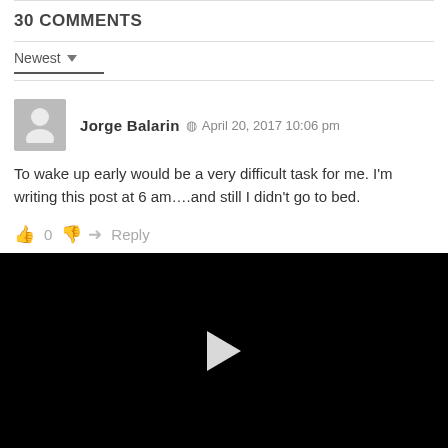30 COMMENTS
Newest
Jorge Balarin  April 20, 2017 10:06 pm
To wake up early would be a very difficult task for me. I'm writing this post at 6 am….and still I didn't go to bed.
0   Reply
[Figure (screenshot): Black video player area with a white play button triangle in the center]